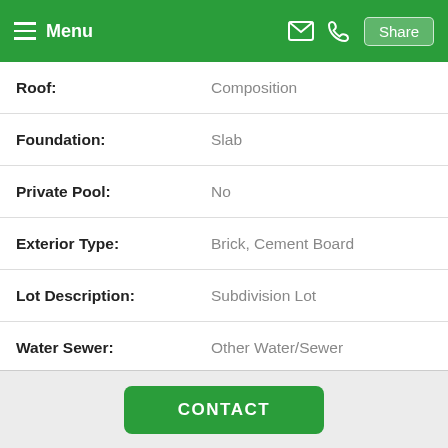Menu  Share
| Property Feature | Value |
| --- | --- |
| Roof: | Composition |
| Foundation: | Slab |
| Private Pool: | No |
| Exterior Type: | Brick, Cement Board |
| Lot Description: | Subdivision Lot |
| Water Sewer: | Other Water/Sewer |
| Unit Location: | Subdivision Lot |
| Exterior: | Fully Fenced, Patio/Deck |
CONTACT